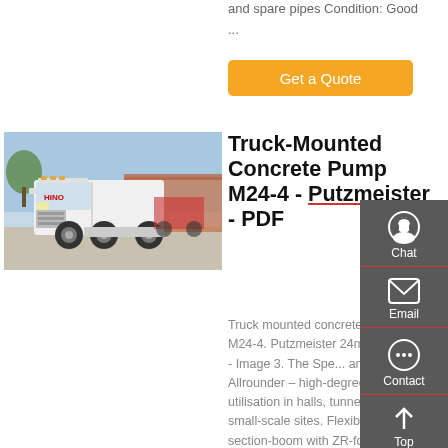and spare pipes Condition: Good
...
Get a Quote
[Figure (photo): White heavy truck (Hino/Sinotruk) parked in a yard with buildings in background]
Truck-Mounted Concrete Pump M24-4 - Putzmeister - PDF
Truck mounted concrete pump M24-4. Putzmeister 24m- 4 Stage - Image 3. The Spe... and Allrounder – high-degree utilisation in halls, tunnels and on small-scale sites. Flexible 4-section-boom with ZR-folding.